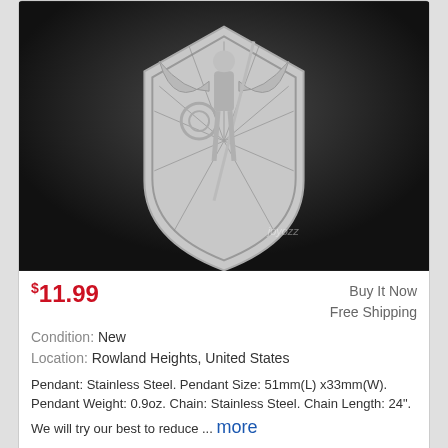[Figure (photo): Silver archangel pendant on shield, stainless steel jewelry product photo on dark background with watermark 'joyozz']
$11.99
Buy It Now
Free Shipping
Condition: New
Location: Rowland Heights, United States
Pendant: Stainless Steel. Pendant Size: 51mm(L) x33mm(W). Pendant Weight: 0.9oz. Chain: Stainless Steel. Chain Length: 24". We will try our best to reduce ... more
925 STERLING SILVER